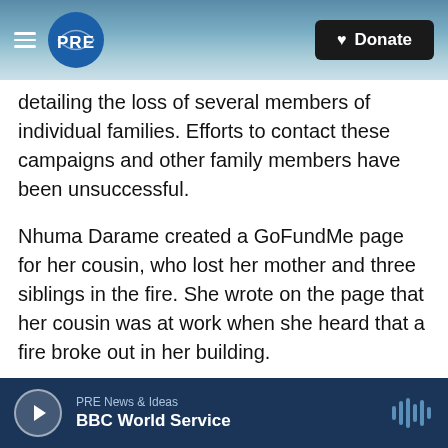PRE | Donate
detailing the loss of several members of individual families. Efforts to contact these campaigns and other family members have been unsuccessful.
Nhuma Darame created a GoFundMe page for her cousin, who lost her mother and three siblings in the fire. She wrote on the page that her cousin was at work when she heard that a fire broke out in her building.
Darame's cousin, according to the page, lost her 50-year-old mother, 12-year-old brother, and two sisters, who were 19 and 21 years old. A 16-year-old brother was rescued and in the hospital
PRE News & Ideas | BBC World Service